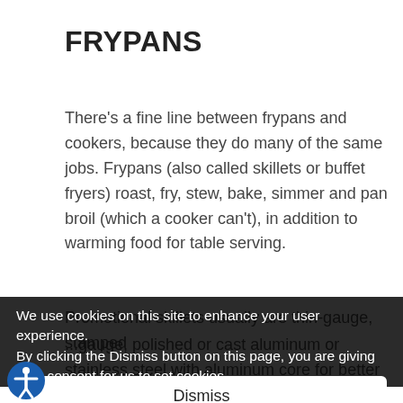FRYPANS
There's a fine line between frypans and cookers, because they do many of the same jobs. Frypans (also called skillets or buffet fryers) roast, fry, stew, bake, simmer and pan broil (which a cooker can't), in addition to warming food for table serving.
Promotional skillets usually are thin-gauge, stamped ... heat ... atch when scoured.
... gauge, polished or ... cast aluminum or stainless steel with aluminum core for better heat distribution. Aluminum ...
... reduces chances of food sticking. Some have nonstick cooking surfaces such as SilverStone and ...
We use cookies on this site to enhance your user experience.
By clicking the Dismiss button on this page, you are giving your consent for us to set cookies.
Privacy Policy
Dismiss